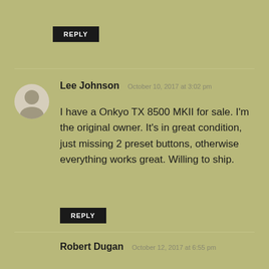REPLY
Lee Johnson  October 10, 2017 at 3:02 pm
I have a Onkyo TX 8500 MKII for sale. I'm the original owner. It's in great condition, just missing 2 preset buttons, otherwise everything works great. Willing to ship.
REPLY
Robert Dugan  October 12, 2017 at 6:55 pm